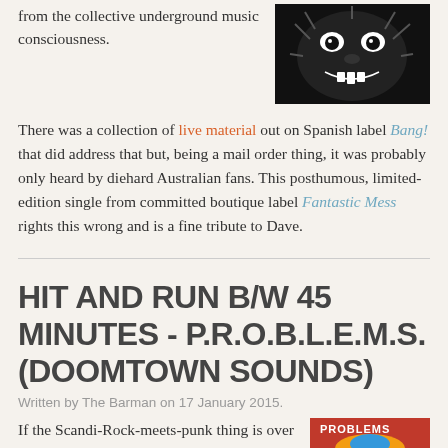from the collective underground music consciousness.
[Figure (illustration): Black and white illustration of a screaming/growling monster or creature face]
There was a collection of live material out on Spanish label Bang! that did address that but, being a mail order thing, it was probably only heard by diehard Australian fans. This posthumous, limited-edition single from committed boutique label Fantastic Mess rights this wrong and is a fine tribute to Dave.
HIT AND RUN B/W 45 MINUTES - P.R.O.B.L.E.M.S. (DOOMTOWN SOUNDS)
Written by The Barman on 17 January 2015.
If the Scandi-Rock-meets-punk thing is over somebody forgot to tell P.R.O.B.L.E.M.S. And just as well. This one presses a boot to the windpipe and doesn't let the victim up until
[Figure (illustration): Colorful punk/rock album cover for P.R.O.B.L.E.M.S. on Doomtown Sounds with red background and illustrated characters]